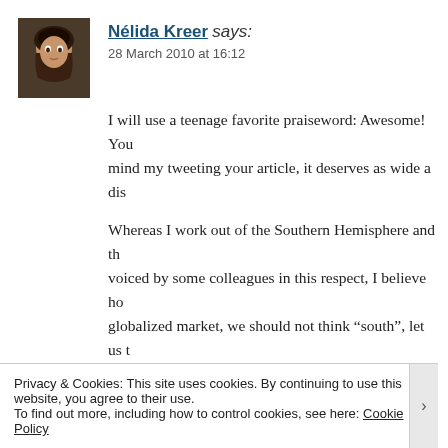[Figure (photo): Small avatar photo of a woman with dark hair]
Nélida Kreer says: 28 March 2010 at 16:12
I will use a teenage favorite praiseword: Awesome! You mind my tweeting your article, it deserves as wide a dis...
Whereas I work out of the Southern Hemisphere and th... voiced by some colleagues in this respect, I believe ho... globalized market, we should not think "south", let us t... I prefer to go walk on the beach than break my back an... Seattle :)) for a pittance. Something of myself goes out... sell myself short. No self-respecting translator should.B... contend with, however, is not agencies, it's undercuttin...
Privacy & Cookies: This site uses cookies. By continuing to use this website, you agree to their use.
To find out more, including how to control cookies, see here: Cookie Policy
Close and accept